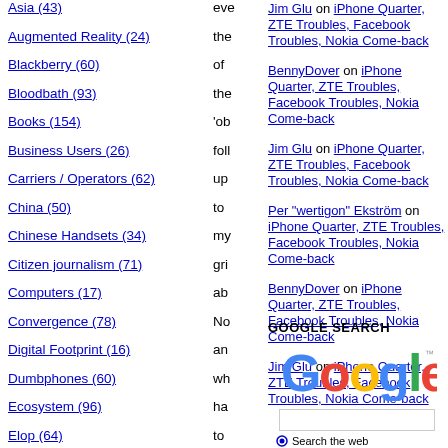Asia (43)
Augmented Reality (24)
Blackberry (60)
Bloodbath (93)
Books (154)
Business Users (26)
Carriers / Operators (62)
China (50)
Chinese Handsets (34)
Citizen journalism (71)
Computers (17)
Convergence (78)
Digital Footprint (16)
Dumbphones (60)
Ecosystem (96)
Elop (64)
Emerging World (68)
Engagement marketing (428)
Jim Glu on iPhone Quarter, ZTE Troubles, Facebook Troubles, Nokia Come-back
BennyDover on iPhone Quarter, ZTE Troubles, Facebook Troubles, Nokia Come-back
Jim Glu on iPhone Quarter, ZTE Troubles, Facebook Troubles, Nokia Come-back
Per "wertigon" Ekström on iPhone Quarter, ZTE Troubles, Facebook Troubles, Nokia Come-back
BennyDover on iPhone Quarter, ZTE Troubles, Facebook Troubles, Nokia Come-back
Jim Glu on iPhone Quarter, ZTE Troubles, Facebook Troubles, Nokia Come-back
GOOGLE SEARCH
[Figure (logo): Google logo in multicolor text]